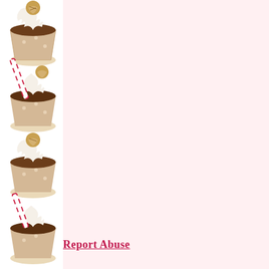[Figure (illustration): Decorative left border strip featuring repeating illustrated coffee/milkshake drinks with whipped cream, straws, and cookie decorations on a white background]
Report Abuse